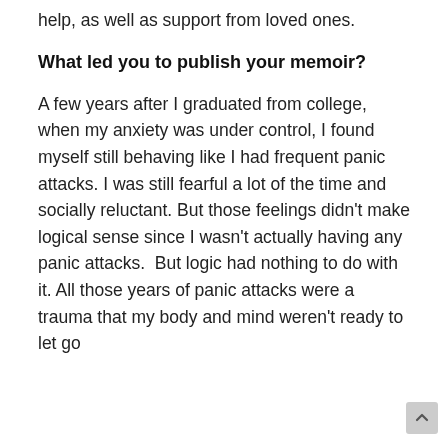help, as well as support from loved ones.
What led you to publish your memoir?
A few years after I graduated from college, when my anxiety was under control, I found myself still behaving like I had frequent panic attacks. I was still fearful a lot of the time and socially reluctant. But those feelings didn't make logical sense since I wasn't actually having any panic attacks.  But logic had nothing to do with it. All those years of panic attacks were a trauma that my body and mind weren't ready to let go of...